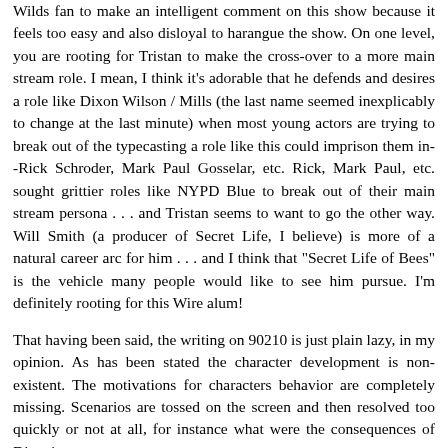Wilds fan to make an intelligent comment on this show because it feels too easy and also disloyal to harangue the show. On one level, you are rooting for Tristan to make the cross-over to a more main stream role. I mean, I think it's adorable that he defends and desires a role like Dixon Wilson / Mills (the last name seemed inexplicably to change at the last minute) when most young actors are trying to break out of the typecasting a role like this could imprison them in--Rick Schroder, Mark Paul Gosselar, etc. Rick, Mark Paul, etc. sought grittier roles like NYPD Blue to break out of their main stream persona . . . and Tristan seems to want to go the other way. Will Smith (a producer of Secret Life, I believe) is more of a natural career arc for him . . . and I think that "Secret Life of Bees" is the vehicle many people would like to see him pursue. I'm definitely rooting for this Wire alum!
That having been said, the writing on 90210 is just plain lazy, in my opinion. As has been stated the character development is non-existent. The motivations for characters behavior are completely missing. Scenarios are tossed on the screen and then resolved too quickly or not at all, for instance what were the consequences of Dixon's